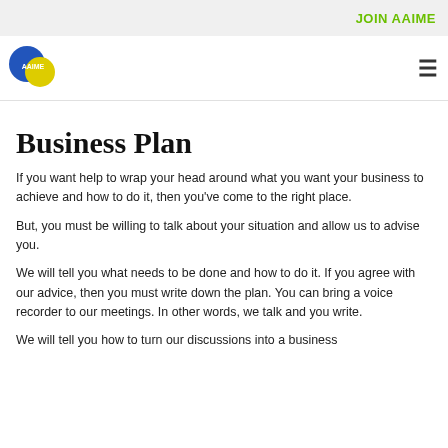JOIN AAIME
[Figure (logo): AAIME logo — overlapping blue and yellow circles with white AAIME text]
Business Plan
If you want help to wrap your head around what you want your business to achieve and how to do it, then you've come to the right place.
But, you must be willing to talk about your situation and allow us to advise you.
We will tell you what needs to be done and how to do it. If you agree with our advice, then you must write down the plan. You can bring a voice recorder to our meetings. In other words, we talk and you write.
We will tell you how to turn our discussions into a business plan that you can present to your prospective lender.